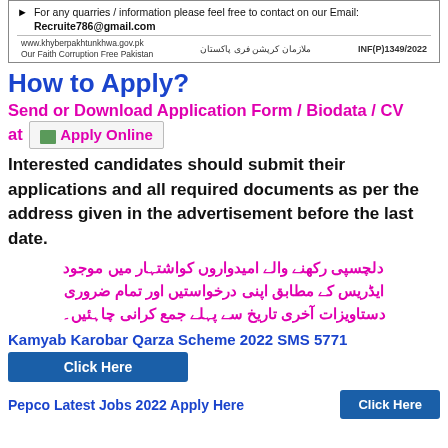[Figure (other): Notice box with bullet point: For any quarries / information please feel free to contact on our Email: Recruite786@gmail.com, with footer showing www.khyberpakhtunkhwa.gov.pk, Our Faith Corruption Free Pakistan, Urdu text, INF(P)1349/2022]
How to Apply?
Send or Download Application Form / Biodata / CV at [Apply Online button]
Interested candidates should submit their applications and all required documents as per the address given in the advertisement before the last date.
دلچسپی رکھنے والے امیدواروں کواشتہار میں موجود ایڈریس کے مطابق اپنی درخواستیں اور تمام ضروری دستاویزات آخری تاریخ سے پہلے جمع کرانی چاہئیں۔
Kamyab Karobar Qarza Scheme 2022 SMS 5771
Click Here
Pepco Latest Jobs 2022 Apply Here
Click Here